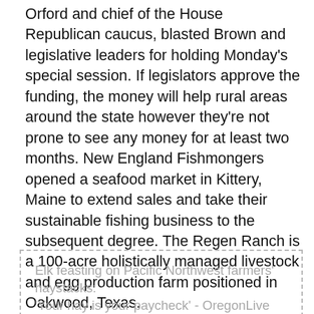Orford and chief of the House Republican caucus, blasted Brown and legislative leaders for holding Monday's special session. If legislators approve the funding, the money will help rural areas around the state however they're not prone to see any money for at least two months. New England Fishmongers opened a seafood market in Kittery, Maine to extend sales and take their sustainable fishing business to the subsequent degree. The Regen Ranch is a 100-acre holistically managed livestock and egg production farm positioned in Oakwood, Texas.
Elk feasting on Pacific Northwest farmers' haystacks: 'Your hay is your paycheck' - OregonLive
Elk feasting on Pacific Northwest farmers'